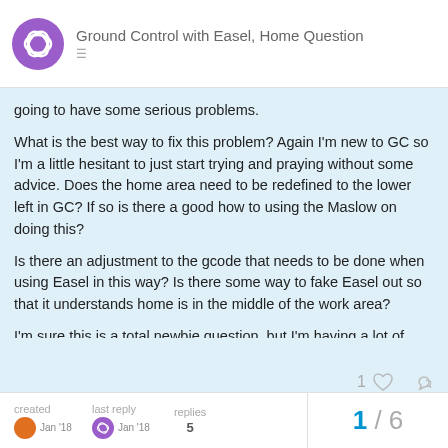Ground Control with Easel, Home Question
going to have some serious problems.
What is the best way to fix this problem? Again I'm new to GC so I'm a little hesitant to just start trying and praying without some advice. Does the home area need to be redefined to the lower left in GC? If so is there a good how to using the Maslow on doing this?
Is there an adjustment to the gcode that needs to be done when using Easel in this way? Is there some way to fake Easel out so that it understands home is in the middle of the work area?
I'm sure this is a total newbie question, but I'm having a lot of problems navigating the Maslow documentation on stuff like this so any assistance is appreciated.
created   last reply   5   1 / 6